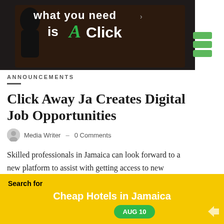[Figure (photo): Dark photo with text sign reading 'what you need is Click Away Ja' in white and green lettering, person in background]
ANNOUNCEMENTS
Click Away Ja Creates Digital Job Opportunities
Media Writer  –  0 Comments
Skilled professionals in Jamaica can look forward to a new platform to assist with getting access to new customers. Clickawayja is Jamaica's first digital platform that connects skilled professionals; like plumbers, hair dressers and electricians…
[Figure (infographic): Yellow advertisement banner. Text: 'Search for' then 'Cheap Hotels in Jamaica' with a green pill badge reading 'AUG 10']